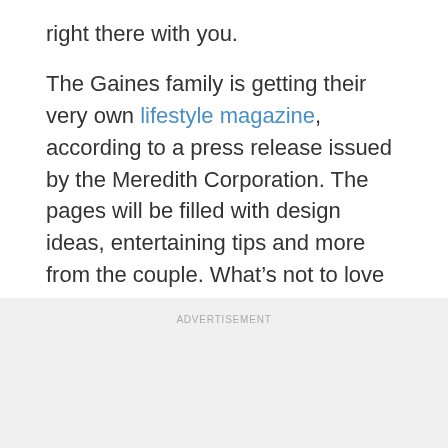right there with you.
The Gaines family is getting their very own lifestyle magazine, according to a press release issued by the Meredith Corporation. The pages will be filled with design ideas, entertaining tips and more from the couple. What’s not to love about that?
ADVERTISEMENT